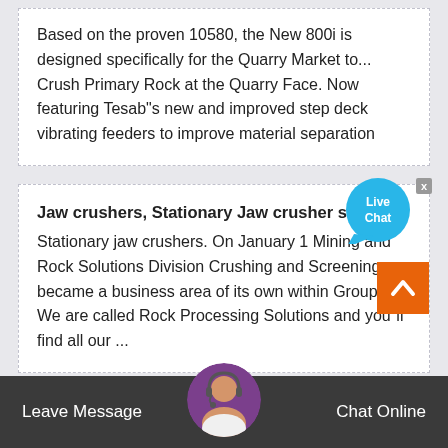Based on the proven 10580, the New 800i is designed specifically for the Quarry Market to... Crush Primary Rock at the Quarry Face. Now featuring Tesab"s new and improved step deck vibrating feeders to improve material separation
Jaw crushers, Stationary Jaw crusher series...
Stationary jaw crushers. On January 1 Mining and Rock Solutions Division Crushing and Screening became a business area of its own within Group... We are called Rock Processing Solutions and you"ll find all our ...
[Figure (infographic): Live Chat speech bubble icon in blue with white text saying 'Live Chat', with a small close X button]
[Figure (infographic): Orange back-to-top button with white upward chevron arrow]
[Figure (photo): Customer service representative avatar with headset, circular cropped photo]
Leave Message   Chat Online